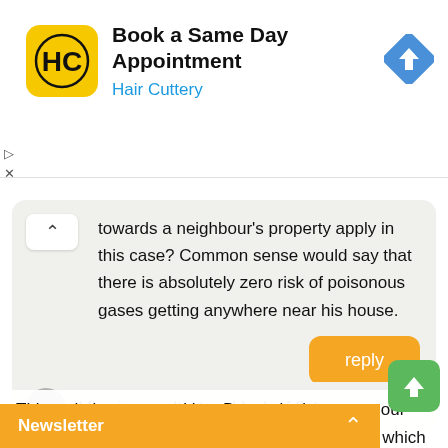[Figure (other): Hair Cuttery ad banner with yellow logo, 'Book a Same Day Appointment' title, 'Hair Cuttery' subtitle in blue, and blue diamond arrow navigation icon]
towards a neighbour's property apply in this case? Common sense would say that there is absolutely zero risk of poisonous gases getting anywhere near his house.
reply
I live in a multi story block of flats
This website uses cookies. By continuing to use our website you agree to our Data Protection Policy, which you c...
Newsletter